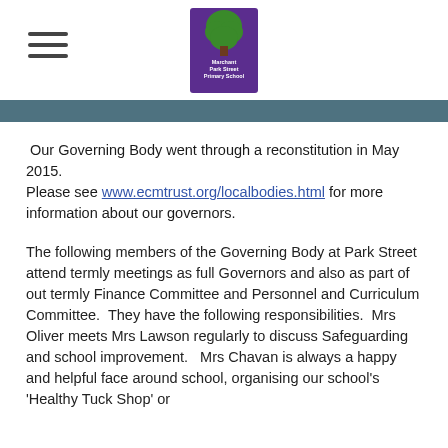Marchant Park Street Primary School logo and navigation
Our Governing Body went through a reconstitution in May 2015. Please see www.ecmtrust.org/localbodies.html for more information about our governors.
The following members of the Governing Body at Park Street attend termly meetings as full Governors and also as part of out termly Finance Committee and Personnel and Curriculum Committee.  They have the following responsibilities.  Mrs Oliver meets Mrs Lawson regularly to discuss Safeguarding and school improvement.   Mrs Chavan is always a happy and helpful face around school, organising our school's 'Healthy Tuck Shop' or